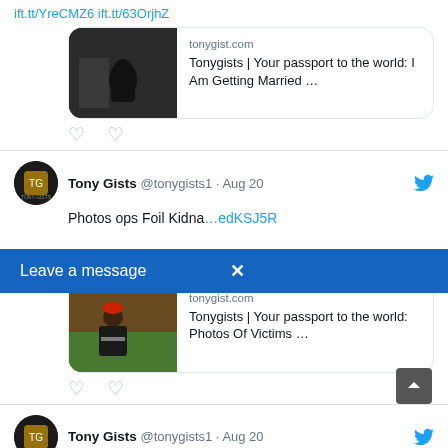ift.tt/YreCMZ6 ift.tt/63OrjhZ
[Figure (screenshot): Link card with dark silhouette image, tonygist.com, Tonygists | Your passport to the world: I Am Getting Married ...]
Tony Gists @tonygists1 · Aug 20 — Photos [Leave a message overlay] Cops Foil Kidnap... edKSJ5R
[Figure (screenshot): Link card with photo of man sitting outdoors, tonygist.com, Tonygists | Your passport to the world: Photos Of Victims ...]
Tony Gists @tonygists1 · Aug 20 — I'm No Longer Affiliated With Chioma, Stop